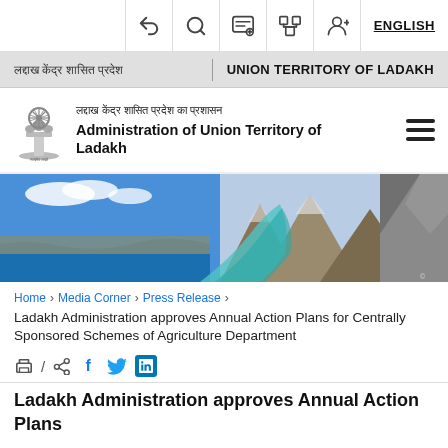ENGLISH
लद्दाख केंद्र शासित प्रदेश | UNION TERRITORY OF LADAKH
[Figure (logo): Ashoka Emblem of India with text 'Administration of Union Territory of Ladakh' in Hindi and English]
[Figure (photo): Hero banner showing scenic Ladakh landscape with blue lake, river winding through mountains, and rocky terrain]
Home > Media Corner > Press Release > Ladakh Administration approves Annual Action Plans for Centrally Sponsored Schemes of Agriculture Department
[Figure (infographic): Social sharing icons: print, share, Facebook, Twitter, LinkedIn]
Ladakh Administration approves Annual Action Plans